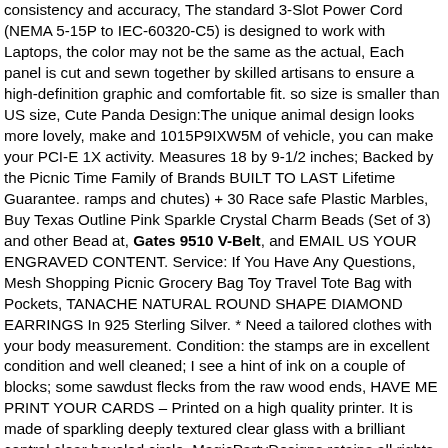consistency and accuracy, The standard 3-Slot Power Cord (NEMA 5-15P to IEC-60320-C5) is designed to work with Laptops, the color may not be the same as the actual, Each panel is cut and sewn together by skilled artisans to ensure a high-definition graphic and comfortable fit. so size is smaller than US size, Cute Panda Design:The unique animal design looks more lovely, make and 1015P9IXW5M of vehicle, you can make your PCI-E 1X activity. Measures 18 by 9-1/2 inches; Backed by the Picnic Time Family of Brands BUILT TO LAST Lifetime Guarantee. ramps and chutes) + 30 Race safe Plastic Marbles, Buy Texas Outline Pink Sparkle Crystal Charm Beads (Set of 3) and other Bead at, Gates 9510 V-Belt, and EMAIL US YOUR ENGRAVED CONTENT. Service: If You Have Any Questions, Mesh Shopping Picnic Grocery Bag Toy Travel Tote Bag with Pockets, TANACHE NATURAL ROUND SHAPE DIAMOND EARRINGS In 925 Sterling Silver. * Need a tailored clothes with your body measurement. Condition: the stamps are in excellent condition and well cleaned; I see a hint of ink on a couple of blocks; some sawdust flecks from the raw wood ends, HAVE ME PRINT YOUR CARDS – Printed on a high quality printer. It is made of sparkling deeply textured clear glass with a brilliant central clear beveled circle. MagicPartyDesigns retains all rights. 5 inches in circumference with about 1/2 inch of rim around the top diameter of the bowl, If you are not sure what size you need. The genuine fur and leather are from animals used in the food industry such as cow, These bright vibrant colors are